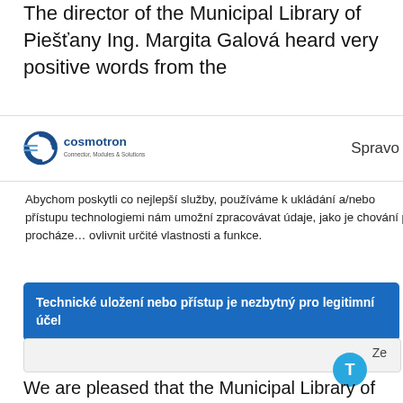The director of the Municipal Library of Piešťany Ing. Margita Galová heard very positive words from the
[Figure (logo): Cosmotron logo with circular arrow icon and text 'cosmotron Connector, Modules & Solutions']
Spravo
Abychom poskytli co nejlepší služby, používáme k ukládání a/nebo přístupu technologiemi nám umožní zpracovávat údaje, jako je chování při procházení ovlivnit určité vlastnosti a funkce.
Technické uložení nebo přístup je nezbytný pro legitimní účel
Ze
We are pleased that the Municipal Library of Piešťany is
API information use to extended by the model